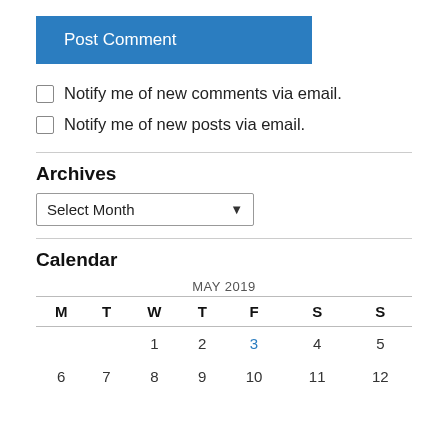Post Comment
Notify me of new comments via email.
Notify me of new posts via email.
Archives
Select Month
Calendar
| M | T | W | T | F | S | S |
| --- | --- | --- | --- | --- | --- | --- |
|  |  | 1 | 2 | 3 | 4 | 5 |
| 6 | 7 | 8 | 9 | 10 | 11 | 12 |